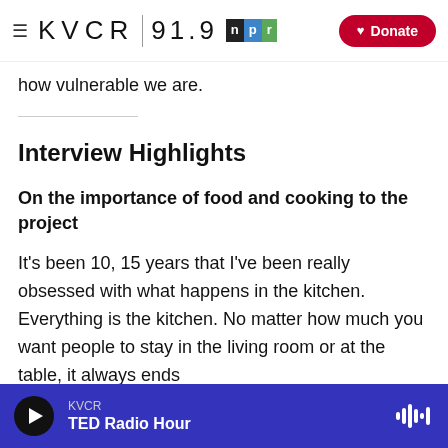KVCR 91.9 NPR | Donate
how vulnerable we are.
Interview Highlights
On the importance of food and cooking to the project
It's been 10, 15 years that I've been really obsessed with what happens in the kitchen. Everything is the kitchen. No matter how much you want people to stay in the living room or at the table, it always ends
KVCR | TED Radio Hour